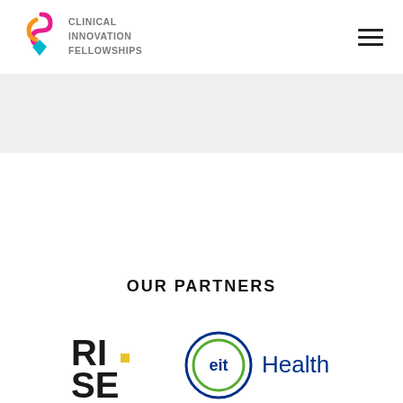CLINICAL INNOVATION FELLOWSHIPS
[Figure (logo): Clinical Innovation Fellowships logo with colorful S-shaped icon and text]
[Figure (logo): RISE logo in black bold text]
[Figure (logo): eit Health logo with circular ring and text]
OUR PARTNERS